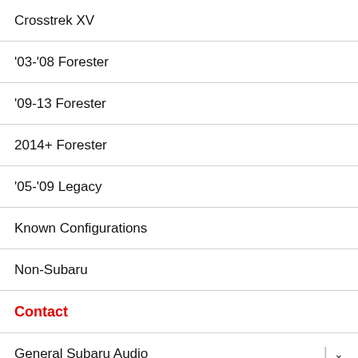Crosstrek XV
'03-'08 Forester
'09-13 Forester
2014+ Forester
'05-'09 Legacy
Known Configurations
Non-Subaru
Contact
General Subaru Audio